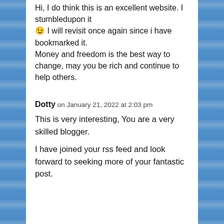Hi, I do think this is an excellent website. I stumbledupon it 😉 I will revisit once again since i have bookmarked it. Money and freedom is the best way to change, may you be rich and continue to help others.
Dotty on January 21, 2022 at 2:03 pm
This is very interesting, You are a very skilled blogger.
I have joined your rss feed and look forward to seeking more of your fantastic post.